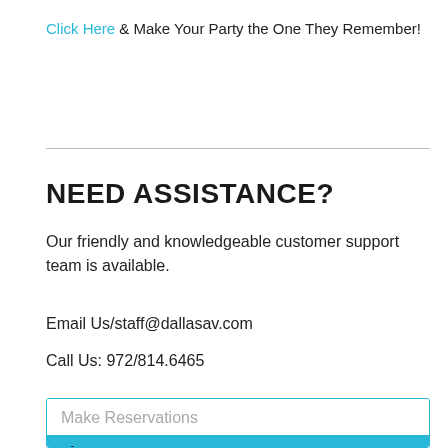Click Here & Make Your Party the One They Remember!
NEED ASSISTANCE?
Our friendly and knowledgeable customer support team is available.
Email Us/staff@dallasav.com
Call Us: 972/814.6465
Make Reservations
First Name: *